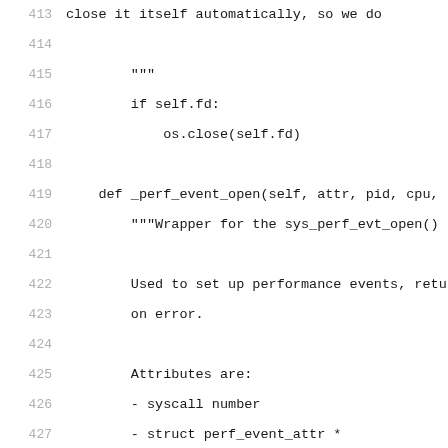Source code listing, lines 413-434, showing Python class methods for perf event handling
413: close it itself automatically, so we do
414: (empty)
415:     """
416:     if self.fd:
417:         os.close(self.fd)
418: (empty)
419:     def _perf_event_open(self, attr, pid, cpu,
420:         """Wrapper for the sys_perf_evt_open()
421: (empty)
422:         Used to set up performance events, retu
423:         on error.
424: (empty)
425:         Attributes are:
426:         - syscall number
427:         - struct perf_event_attr *
428:         - pid or -1 to monitor all pids
429:         - cpu number or -1 to monitor all cpus
430:         - The file descriptor of the group lead
431:         - flags
432: (empty)
433:         """
434:         return self.syscall(ARCH_sc_perf_op